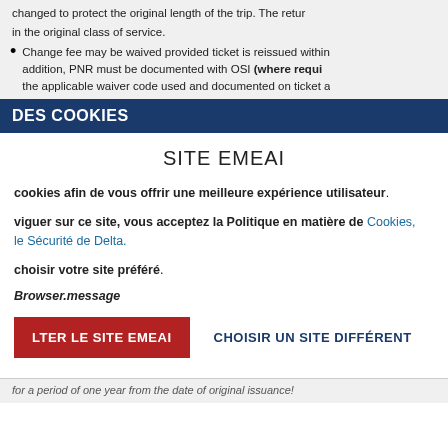changed to protect the original length of the trip. The return in the original class of service.
Change fee may be waived provided ticket is reissued within addition, PNR must be documented with OSI (where requi the applicable waiver code used and documented on ticket a
DES COOKIES
SITE EMEAI
cookies afin de vous offrir une meilleure expérience utilisateur.
viguer sur ce site, vous acceptez la Politique en matière de Cookies, le Sécurité de Delta.
choisir votre site préféré.
Browser.message
LTER LE SITE EMEAI   CHOISIR UN SITE DIFFÉRENT
for a period of one year from the date of original issuance!